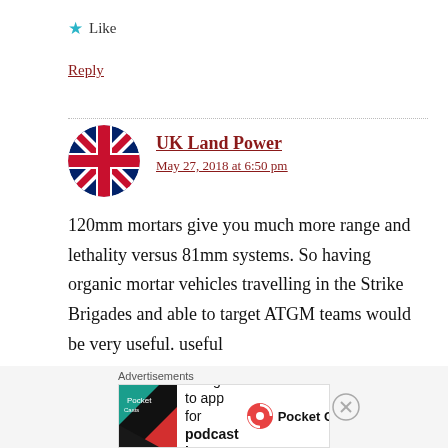★ Like
Reply
UK Land Power says: May 27, 2018 at 6:50 pm
120mm mortars give you much more range and lethality versus 81mm systems. So having organic mortar vehicles travelling in the Strike Brigades and able to target ATGM teams would be very useful. useful
[Figure (infographic): Advertisement banner: Pocket Casts - The go-to app for podcast lovers.]